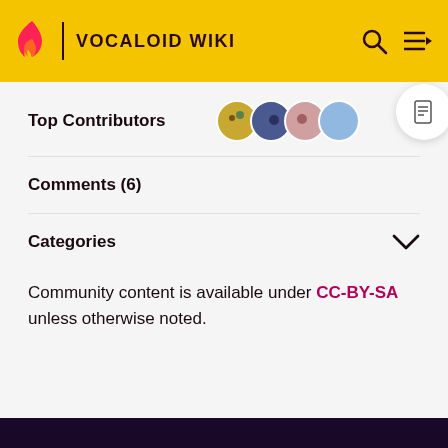VOCALOID WIKI
Top Contributors
Comments (6)
Categories
Community content is available under CC-BY-SA unless otherwise noted.